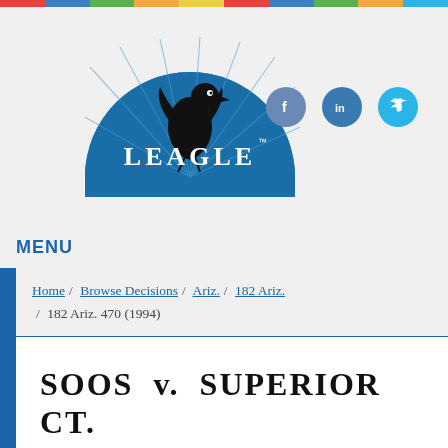[Figure (logo): Leagle.com logo with eagle silhouette on blue semicircle background]
[Figure (infographic): Social media icons: Facebook, LinkedIn, Twitter]
MENU
Home / Browse Decisions / Ariz. / 182 Ariz. / 182 Ariz. 470 (1994)
SOOS v. SUPERIOR CT.